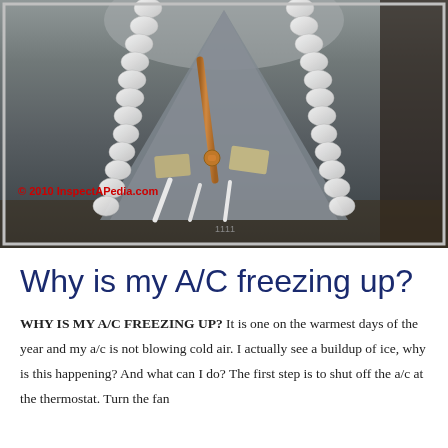[Figure (photo): Photograph of an air conditioning unit interior showing frozen/insulated refrigerant lines forming an arch shape, with a copper pipe and white foam insulation. Watermark reads '© 2010 InspectAPedia.com'.]
Why is my A/C freezing up?
WHY IS MY A/C FREEZING UP? It is one on the warmest days of the year and my a/c is not blowing cold air. I actually see a buildup of ice, why is this happening? And what can I do? The first step is to shut off the a/c at the thermostat. Turn the fan